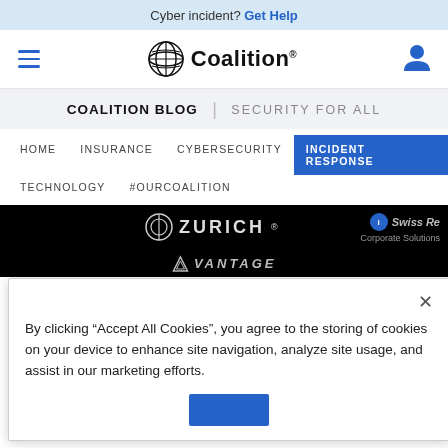Cyber incident? Get Help
[Figure (logo): Coalition logo with globe icon and wordmark]
COALITION BLOG | SECURITY FOR ALL
HOME  INSURANCE  CYBERSECURITY  INCIDENT RESPONSE  TECHNOLOGY  #OURCOALITION
[Figure (logo): Dark background section showing ZURICH logo and Swiss Re Corporate Solutions logo and VANTAGE logo]
By clicking "Accept All Cookies", you agree to the storing of cookies on your device to enhance site navigation, analyze site usage, and assist in our marketing efforts.